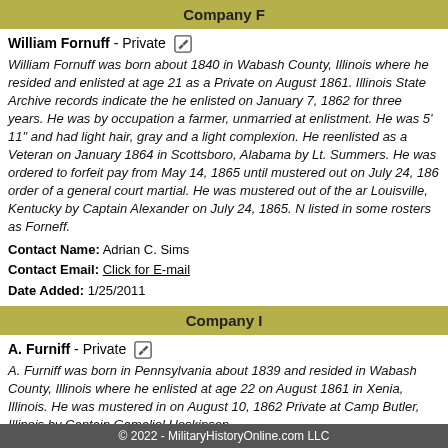Company F
William Fornuff - Private
William Fornuff was born about 1840 in Wabash County, Illinois where he resided and enlisted at age 21 as a Private on August 1861. Illinois State Archive records indicate the he enlisted on January 7, 1862 for three years. He was by occupation a farmer, unmarried at enlistment. He was 5' 11" and had light hair, gray and a light complexion. He reenlisted as a Veteran on January 1864 in Scottsboro, Alabama by Lt. Summers. He was ordered to forfeit pay from May 14, 1865 until mustered out on July 24, 1865 order of a general court martial. He was mustered out of the army Louisville, Kentucky by Captain Alexander on July 24, 1865. Name listed in some rosters as Forneff.
Contact Name: Adrian C. Sims
Contact Email: Click for E-mail
Date Added: 1/25/2011
Company I
A. Furniff - Private
A. Furniff was born in Pennsylvania about 1839 and resided in Wabash County, Illinois where he enlisted at age 22 on August 1861 in Xenia, Illinois. He was mustered in on August 10, 1862 Private at Camp Butler, Illinois by Captain Gamaliel Hoskinson
© 2022 - MilitaryHistoryOnline.com LLC